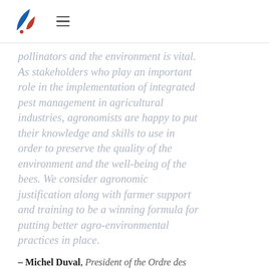[Logo: Ordre des agronomes du Québec] [hamburger menu icon]
pollinators and the environment is vital. As stakeholders who play an important role in the implementation of integrated pest management in agricultural industries, agronomists are happy to put their knowledge and skills to use in order to preserve the quality of the environment and the well-being of the bees. We consider agronomic justification along with farmer support and training to be a winning formula for putting better agro-environmental practices in place.
– Michel Duval, President of the Ordre des agronomes du Québec